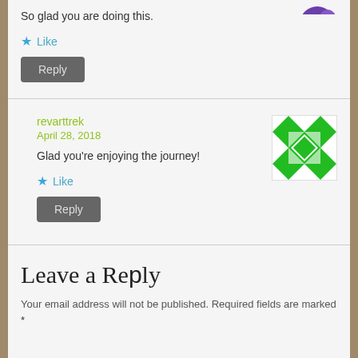[Figure (illustration): Partial purple avatar icon visible at top right corner]
So glad you are doing this.
★ Like
Reply
revarttrek
April 28, 2018
[Figure (illustration): Green and white geometric/symmetrical pattern avatar for revarttrek]
Glad you're enjoying the journey!
★ Like
Reply
Leave a Reply
Your email address will not be published. Required fields are marked *